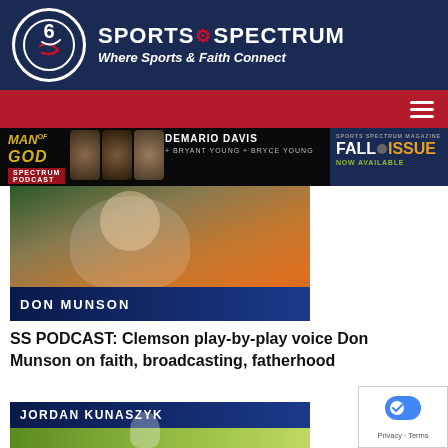[Figure (logo): Sports Spectrum logo with circular S emblem and text 'SPORTS SPECTRUM - Where Sports & Faith Connect' on dark navy background]
[Figure (screenshot): Red navigation bar with hamburger menu icon on right]
[Figure (photo): Banner advertisement: Man of God Spectrum Podcast featuring DeMario Davis, Bryant Young, Bryce Young; Sports Spectrum Magazine Fall Issue Now Available ad on right]
[Figure (photo): Clemson play-by-play announcer Don Munson photo with blue gradient overlay showing name 'DON MUNSON']
SS PODCAST: Clemson play-by-play voice Don Munson on faith, broadcasting, fatherhood
[Figure (photo): Jordan Kunaszyk athlete photo with blue banner and name overlay 'JORDAN KUNASZYK']
[Figure (logo): Google reCAPTCHA badge with Privacy and Terms text]